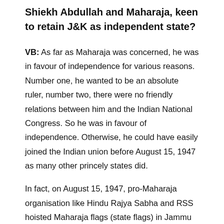Shiekh Abdullah and Maharaja, keen to retain J&K as independent state?
VB: As far as Maharaja was concerned, he was in favour of independence for various reasons. Number one, he wanted to be an absolute ruler, number two, there were no friendly relations between him and the Indian National Congress. So he was in favour of independence. Otherwise, he could have easily joined the Indian union before August 15, 1947 as many other princely states did.
In fact, on August 15, 1947, pro-Maharaja organisation like Hindu Rajya Sabha and RSS hoisted Maharaja flags (state flags) in Jammu everywhere. They did not hoist